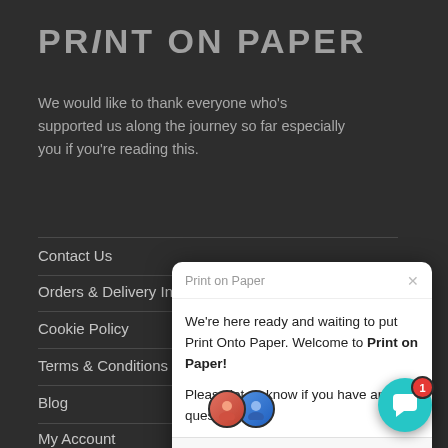PRiNT ON PAPER
We would like to thank everyone who's supported us along the journey so far especially you if you're reading this.
Contact Us
Orders & Delivery Info
Cookie Policy
Terms & Conditions
Blog
My Account
[Figure (screenshot): Chat popup widget from 'Print on Paper' showing welcome message: 'We're here ready and waiting to put Print Onto Paper. Welcome to Print on Paper! Please let us know if you have any questions 😀' with reply input field and teal chat button with badge '1']